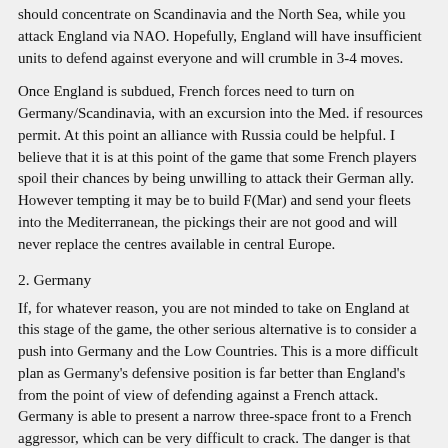should concentrate on Scandinavia and the North Sea, while you attack England via NAO. Hopefully, England will have insufficient units to defend against everyone and will crumble in 3-4 moves.
Once England is subdued, French forces need to turn on Germany/Scandinavia, with an excursion into the Med. if resources permit. At this point an alliance with Russia could be helpful. I believe that it is at this point of the game that some French players spoil their chances by being unwilling to attack their German ally. However tempting it may be to build F(Mar) and send your fleets into the Mediterranean, the pickings their are not good and will never replace the centres available in central Europe.
2. Germany
If, for whatever reason, you are not minded to take on England at this stage of the game, the other serious alternative is to consider a push into Germany and the Low Countries. This is a more difficult plan as Germany's defensive position is far better than England's from the point of view of defending against a French attack. Germany is able to present a narrow three-space front to a French aggressor, which can be very difficult to crack. The danger is that England may have more to gain from an immediate attack on Germany, as it may allow her to make gains in Scandinavia. On the other hand, if it is possible to ally with Russia to co-ordinate an attack on Germany then it may be possible to use Russian armies